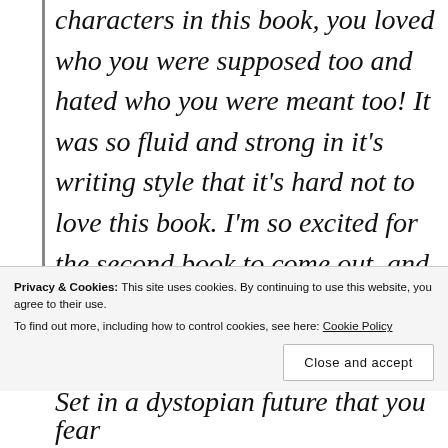characters in this book, you loved who you were supposed too and hated who you were meant too! It was so fluid and strong in it's writing style that it's hard not to love this book. I'm so excited for the second book to come out, and to see what happens next!
Privacy & Cookies: This site uses cookies. By continuing to use this website, you agree to their use.
To find out more, including how to control cookies, see here: Cookie Policy
Close and accept
Set in a dystopian future that you fear